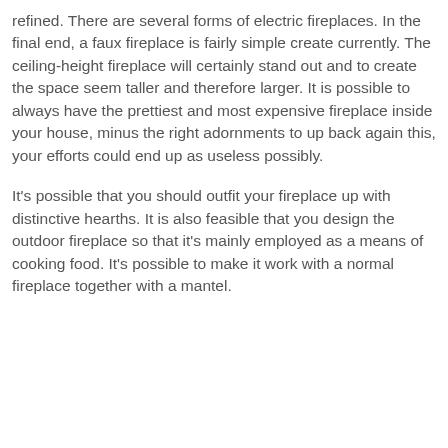refined. There are several forms of electric fireplaces. In the final end, a faux fireplace is fairly simple create currently. The ceiling-height fireplace will certainly stand out and to create the space seem taller and therefore larger. It is possible to always have the prettiest and most expensive fireplace inside your house, minus the right adornments to up back again this, your efforts could end up as useless possibly.
It's possible that you should outfit your fireplace up with distinctive hearths. It is also feasible that you design the outdoor fireplace so that it's mainly employed as a means of cooking food. It's possible to make it work with a normal fireplace together with a mantel.